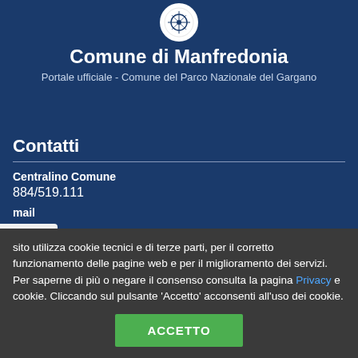[Figure (logo): Comune di Manfredonia circular logo/seal in white circle]
Comune di Manfredonia
Portale ufficiale - Comune del Parco Nazionale del Gargano
Contatti
Centralino Comune
884/519.111
mail
sito utilizza cookie tecnici e di terze parti, per il corretto funzionamento delle pagine web e per il miglioramento dei servizi. Per saperne di più o negare il consenso consulta la pagina Privacy e cookie. Cliccando sul pulsante 'Accetto' acconsenti all'uso dei cookie.
ACCETTO